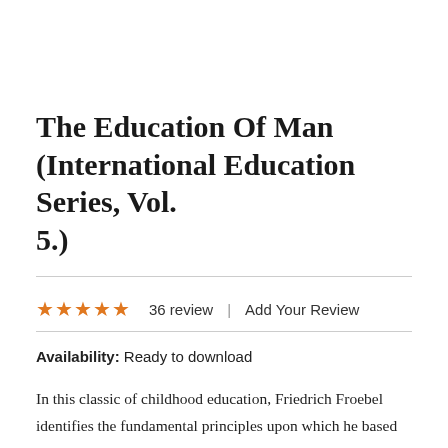The Education Of Man (International Education Series, Vol. 5.)
36 review  |  Add Your Review
Availability: Ready to download
In this classic of childhood education, Friedrich Froebel identifies the fundamental principles upon which he based his now-ubiquitous kindergarten system. Froebel demonstrates how to channel child's play and integrate it into the